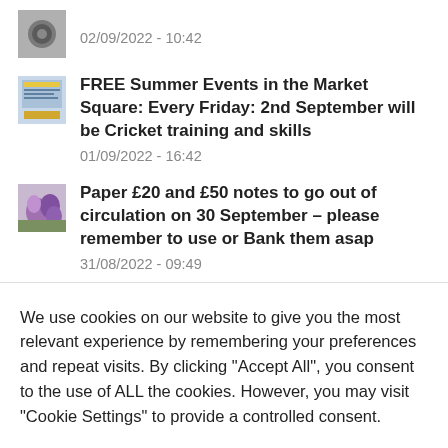02/09/2022 - 10:42
FREE Summer Events in the Market Square: Every Friday: 2nd September will be Cricket training and skills
01/09/2022 - 16:42
Paper £20 and £50 notes to go out of circulation on 30 September – please remember to use or Bank them asap
31/08/2022 - 09:49
We use cookies on our website to give you the most relevant experience by remembering your preferences and repeat visits. By clicking "Accept All", you consent to the use of ALL the cookies. However, you may visit "Cookie Settings" to provide a controlled consent.